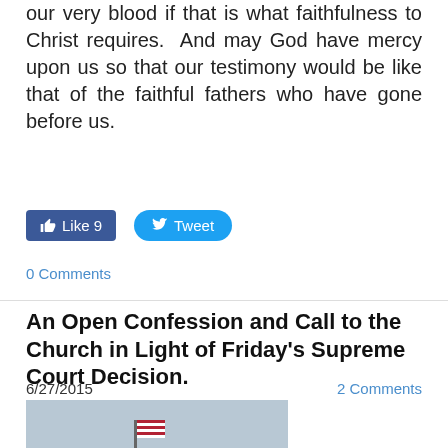our very blood if that is what faithfulness to Christ requires.  And may God have mercy upon us so that our testimony would be like that of the faithful fathers who have gone before us.
[Figure (screenshot): Facebook Like button showing 9 likes and Twitter Tweet button]
0 Comments
An Open Confession and Call to the Church in Light of Friday's Supreme Court Decision.
6/27/2015    2 Comments
[Figure (photo): Photo of the US Supreme Court building with a news banner reading 'SUPREME COURT RULES 5-4 IN FAVOR OF SAME-SEX MARRIAGE'. People visible in front of the building.]